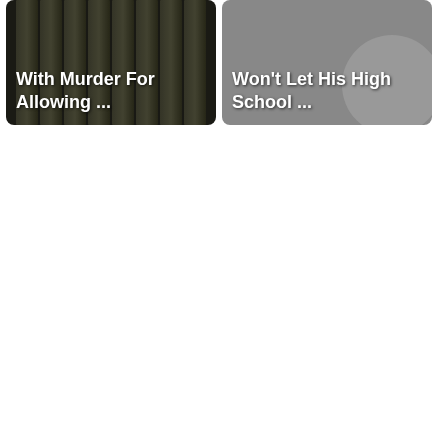[Figure (photo): Dark image of prison bars with white bold text overlay reading 'With Murder For Allowing ...']
[Figure (photo): Gray image with circular shape (possibly a person silhouette) with white bold text overlay reading 'Won't Let His High School ...']